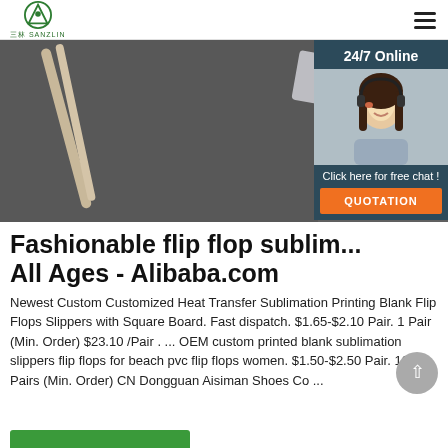三林SANZLIN logo and hamburger menu
[Figure (photo): Hero banner image showing pens/pencils on dark fabric background, with a 24/7 Online chat widget on the right showing a female customer service agent with a headset, a 'Click here for free chat!' prompt, and an orange QUOTATION button]
Fashionable flip flop sublim... All Ages - Alibaba.com
Newest Custom Customized Heat Transfer Sublimation Printing Blank Flip Flops Slippers with Square Board. Fast dispatch. $1.65-$2.10 Pair. 1 Pair (Min. Order) $23.10 /Pair . ... OEM custom printed blank sublimation slippers flip flops for beach pvc flip flops women. $1.50-$2.50 Pair. 10 Pairs (Min. Order) CN Dongguan Aisiman Shoes Co ...